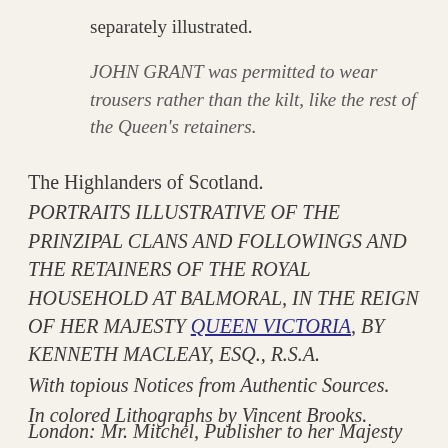separately illustrated.
JOHN GRANT was permitted to wear trousers rather than the kilt, like the rest of the Queen's retainers.
The Highlanders of Scotland. PORTRAITS ILLUSTRATIVE OF THE PRINZIPAL CLANS AND FOLLOWINGS AND THE RETAINERS OF THE ROYAL HOUSEHOLD AT BALMORAL, IN THE REIGN OF HER MAJESTY QUEEN VICTORIA, BY KENNETH MACLEAY, ESQ., R.S.A. With topious Notices from Authentic Sources. In colored Lithographs by Vincent Brooks.
London: Mr. Mitchel, Publisher to her Majesty